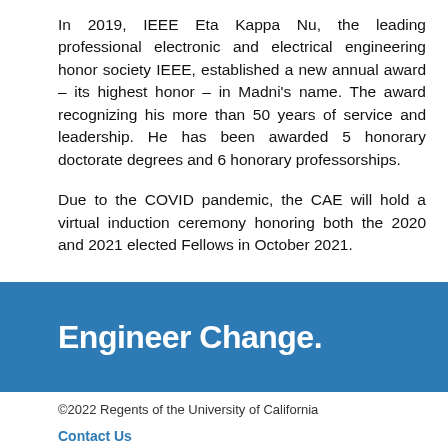In 2019, IEEE Eta Kappa Nu, the leading professional electronic and electrical engineering honor society IEEE, established a new annual award – its highest honor – in Madni's name. The award recognizing his more than 50 years of service and leadership. He has been awarded 5 honorary doctorate degrees and 6 honorary professorships.
Due to the COVID pandemic, the CAE will hold a virtual induction ceremony honoring both the 2020 and 2021 elected Fellows in October 2021.
Engineer Change.
©2022 Regents of the University of California
Contact Us